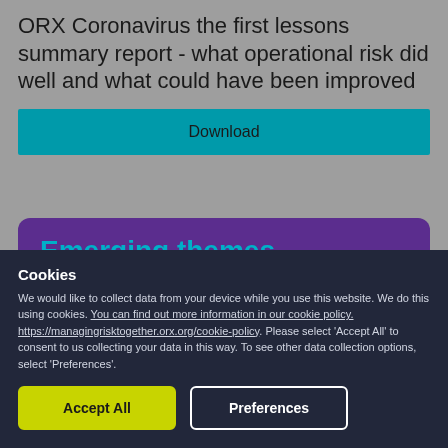ORX Coronavirus the first lessons summary report - what operational risk did well and what could have been improved
Download
Emerging themes
Went well...
Cookies
We would like to collect data from your device while you use this website. We do this using cookies. You can find out more information in our cookie policy. https://managingrisktogether.orx.org/cookie-policy. Please select 'Accept All' to consent to us collecting your data in this way. To see other data collection options, select 'Preferences'.
Accept All
Preferences